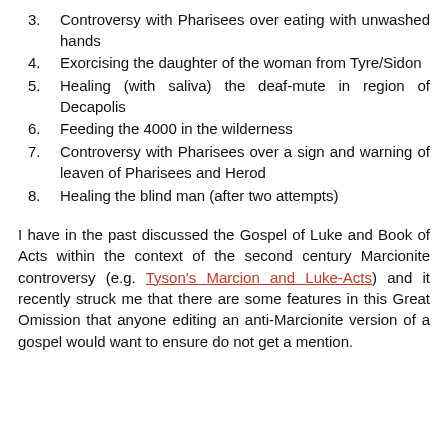3. Controversy with Pharisees over eating with unwashed hands
4. Exorcising the daughter of the woman from Tyre/Sidon
5. Healing (with saliva) the deaf-mute in region of Decapolis
6. Feeding the 4000 in the wilderness
7. Controversy with Pharisees over a sign and warning of leaven of Pharisees and Herod
8. Healing the blind man (after two attempts)
I have in the past discussed the Gospel of Luke and Book of Acts within the context of the second century Marcionite controversy (e.g. Tyson's Marcion and Luke-Acts) and it recently struck me that there are some features in this Great Omission that anyone editing an anti-Marcionite version of a gospel would want to ensure do not get a mention.